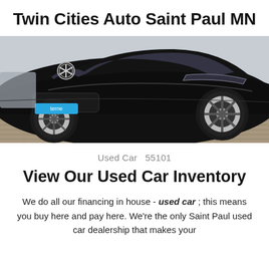Twin Cities Auto Saint Paul MN
[Figure (photo): Front three-quarter view of a black Mercedes-Benz CLS parked on brick pavement, with a license plate reading 'terne' visible on the front bumper.]
Used Car  55101
View Our Used Car Inventory
We do all our financing in house - used car ; this means you buy here and pay here. We're the only Saint Paul used car dealership that makes your